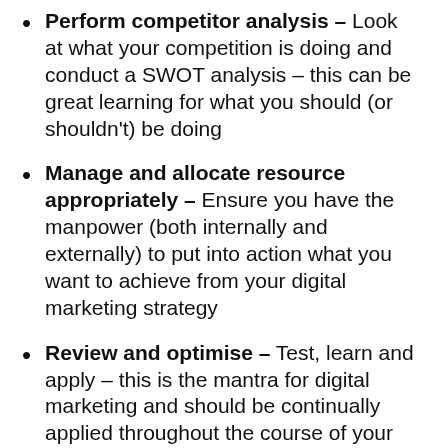Perform competitor analysis – Look at what your competition is doing and conduct a SWOT analysis – this can be great learning for what you should (or shouldn't) be doing
Manage and allocate resource appropriately – Ensure you have the manpower (both internally and externally) to put into action what you want to achieve from your digital marketing strategy
Review and optimise – Test, learn and apply – this is the mantra for digital marketing and should be continually applied throughout the course of your campaigns